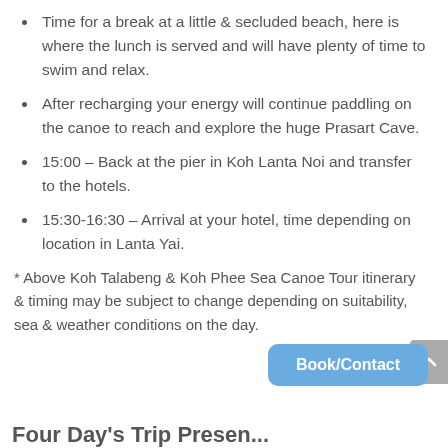Time for a break at a little & secluded beach, here is where the lunch is served and will have plenty of time to swim and relax.
After recharging your energy will continue paddling on the canoe to reach and explore the huge Prasart Cave.
15:00 – Back at the pier in Koh Lanta Noi and transfer to the hotels.
15:30-16:30 – Arrival at your hotel, time depending on location in Lanta Yai.
* Above Koh Talabeng & Koh Phee Sea Canoe Tour itinerary & timing may be subject to change depending on suitability, sea & weather conditions on the day.
Four Day's Trip Presen...